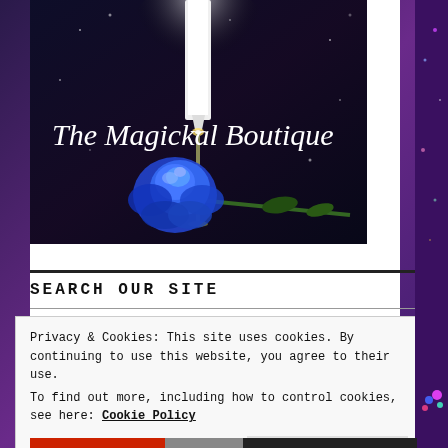[Figure (photo): Dark blue/purple background with a white candle beam from top and a glowing blue rose, with the text 'The Magickal Boutique' in white italic serif font overlay.]
SEARCH OUR SITE
Privacy & Cookies: This site uses cookies. By continuing to use this website, you agree to their use.
To find out more, including how to control cookies, see here: Cookie Policy
Close and accept